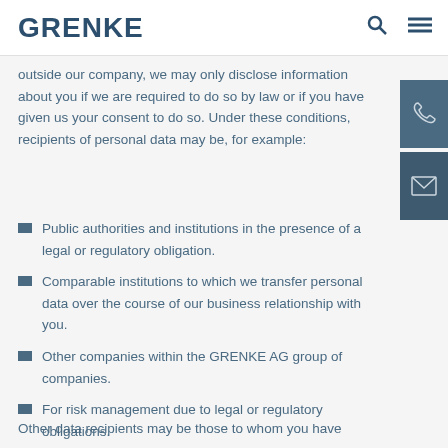GRENKE
outside our company, we may only disclose information about you if we are required to do so by law or if you have given us your consent to do so. Under these conditions, recipients of personal data may be, for example:
Public authorities and institutions in the presence of a legal or regulatory obligation.
Comparable institutions to which we transfer personal data over the course of our business relationship with you.
Other companies within the GRENKE AG group of companies.
For risk management due to legal or regulatory obligations.
Other data recipients may be those to whom you have